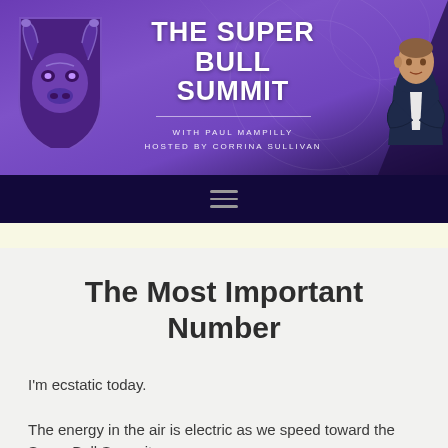[Figure (illustration): The Super Bull Summit banner with purple bull logo on left, title text in center, and a man in a suit on the right. Text reads: THE SUPER BULL SUMMIT / WITH PAUL MAMPILLY / HOSTED BY CORRINA SULLIVAN]
≡
The Most Important Number
I'm ecstatic today.
The energy in the air is electric as we speed toward the Super Bull Summit.